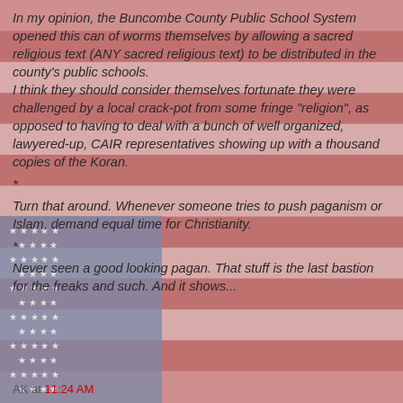[Figure (illustration): American flag with red and white stripes and blue canton with stars, aged/faded appearance used as background]
In my opinion, the Buncombe County Public School System opened this can of worms themselves by allowing a sacred religious text (ANY sacred religious text) to be distributed in the county's public schools.
I think they should consider themselves fortunate they were challenged by a local crack-pot from some fringe "religion", as opposed to having to deal with a bunch of well organized, lawyered-up, CAIR representatives showing up with a thousand copies of the Koran.
*
Turn that around. Whenever someone tries to push paganism or Islam, demand equal time for Christianity.
*
Never seen a good looking pagan. That stuff is the last bastion for the freaks and such. And it shows...
AK at 11:24 AM